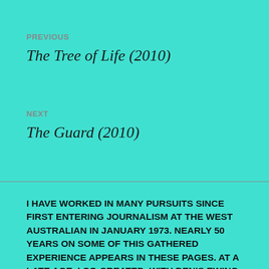PREVIOUS
The Tree of Life (2010)
NEXT
The Guard (2010)
I HAVE WORKED IN MANY PURSUITS SINCE FIRST ENTERING JOURNALISM AT THE WEST AUSTRALIAN IN JANUARY 1973. NEARLY 50 YEARS ON SOME OF THIS GATHERED EXPERIENCE APPEARS IN THESE PAGES. AT A LATE AGE, I CO-CREATED, WITH DENIS EWING AND JOHN BOWLER, THE GOLDEN MAIL NEWSPAPER IN KALGOORLIE-BOULDER. HORSE RACING DOMINATED MY PROFESSIONAL LIFE UNTIL I DISCOVERED POLITICS IN 2005. TOO LATE I SAW